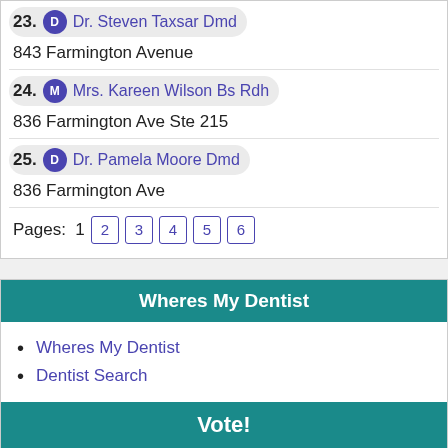23. D Dr. Steven Taxsar Dmd
843 Farmington Avenue
24. M Mrs. Kareen Wilson Bs Rdh
836 Farmington Ave Ste 215
25. D Dr. Pamela Moore Dmd
836 Farmington Ave
Pages: 1 2 3 4 5 6
Wheres My Dentist
Wheres My Dentist
Dentist Search
Vote!